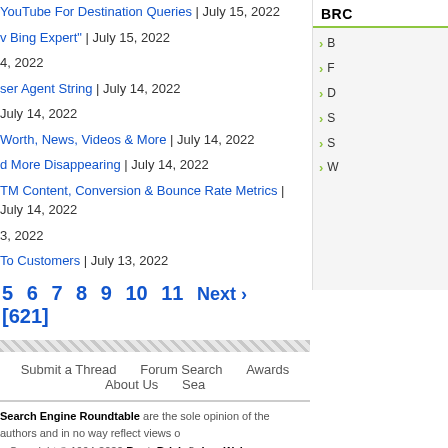YouTube For Destination Queries | July 15, 2022
v Bing Expert" | July 15, 2022
4, 2022
ser Agent String | July 14, 2022
July 14, 2022
Worth, News, Videos & More | July 14, 2022
d More Disappearing | July 14, 2022
TM Content, Conversion & Bounce Rate Metrics | July 14, 2022
3, 2022
To Customers | July 13, 2022
5 6 7 8 9 10 11 Next > [621]
Submit a Thread   Forum Search   Awards   About Us   Sea...
Search Engine Roundtable are the sole opinion of the authors and in no way reflect views o... Copyright © 1994-2022 RustyBrick ®, Inc. Web Development All Rights Reserved. sed under a Creative Commons Attribution 3.0 United States License. Creative Commons Lic...